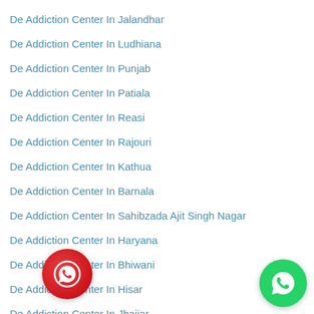De Addiction Center In Jalandhar
De Addiction Center In Ludhiana
De Addiction Center In Punjab
De Addiction Center In Patiala
De Addiction Center In Reasi
De Addiction Center In Rajouri
De Addiction Center In Kathua
De Addiction Center In Barnala
De Addiction Center In Sahibzada Ajit Singh Nagar
De Addiction Center In Haryana
De Addiction Center In Bhiwani
De Addiction Center In Hisar
De Addiction Center In Jhajjar